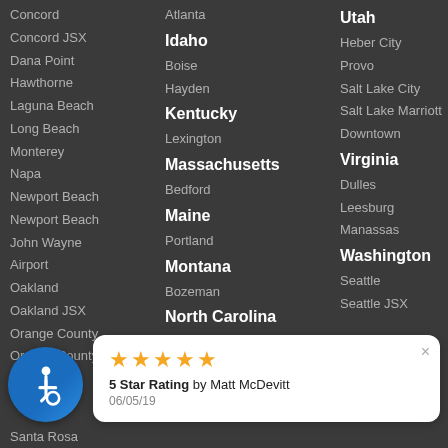Concord
Concord JSX
Dana Point
Hawthorne
Laguna Beach
Long Beach
Monterey
Napa
Newport Beach
Newport Beach John Wayne Airport
Oakland
Oakland JSX
Orange County
Orange County JSX
Atlanta
Idaho
Boise
Hayden
Kentucky
Lexington
Massachusetts
Bedford
Maine
Portland
Montana
Bozeman
North Carolina
Charlotte
Raleigh
Wilmington
Nebraska
Utah
Heber City
Provo
Salt Lake City
Salt Lake Marriott Downtown
Virginia
Dulles
Leesburg
Manassas
Washington
Seattle
Seattle JSX
[Figure (other): Accessibility icon button - blue circular button with wheelchair accessibility symbol]
5 Star Rating by Matt McDevitt
06/05/19
Santa Rosa